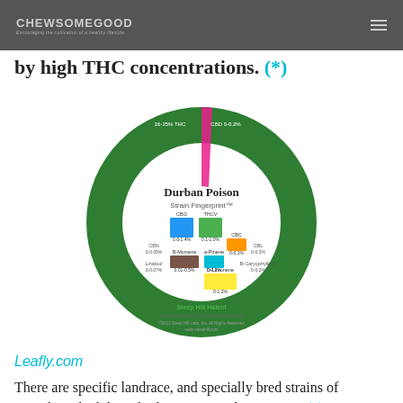CHEWSOMEGOOD — Encouraging the cultivation of a healthy lifestyle
by high THC concentrations. (*)
[Figure (infographic): Durban Poison Strain Fingerprint donut chart showing cannabinoid and terpene concentrations: THC 16-25%, CBD 0-0.2%, CBG 0.6-1.4%, THCV 0.1-1.0%, CBN 0-0.05%, CBC 0-0.1%, CBL 0-0.2%, Linalool 0-0.07%, B-Myrcene 0.01-0.5%, a-Pinene 0-0.2%, D-Limonene 0-1.2%, B-Caryophyllene 0-0.2%. Green donut ring with inner labeled color blocks. Steep Hill Halent logo at bottom.]
Leafly.com
There are specific landrace, and specially bred strains of cannabis which have higher THCV values ~ ≥ 5% (*). But, since breeding up